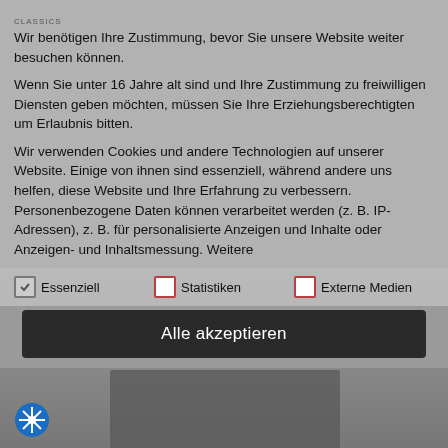[Figure (screenshot): Cookie consent dialog overlaid on a website (Classics). Shows consent text in German, checkboxes for Essenziell, Statistiken, Externe Medien, and an 'Alle akzeptieren' button. Background shows a blurred website with a photo of a person with a backpack in a city.]
Wir benötigen Ihre Zustimmung, bevor Sie unsere Website weiter besuchen können.
Wenn Sie unter 16 Jahre alt sind und Ihre Zustimmung zu freiwilligen Diensten geben möchten, müssen Sie Ihre Erziehungsberechtigten um Erlaubnis bitten.
Wir verwenden Cookies und andere Technologien auf unserer Website. Einige von ihnen sind essenziell, während andere uns helfen, diese Website und Ihre Erfahrung zu verbessern. Personenbezogene Daten können verarbeitet werden (z. B. IP-Adressen), z. B. für personalisierte Anzeigen und Inhalte oder Anzeigen- und Inhaltsmessung. Weitere
✓  Essenziell
□  Statistiken
□  Externe Medien
Alle akzeptieren